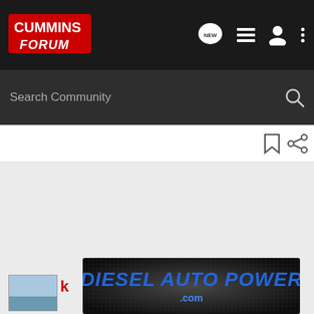[Figure (logo): Cummins Forum logo with red and white text on dark background]
Search Community
[Figure (screenshot): Gray content area placeholder for forum content]
[Figure (logo): Diesel Auto Power .com banner advertisement with blue text on dark textured background]
k